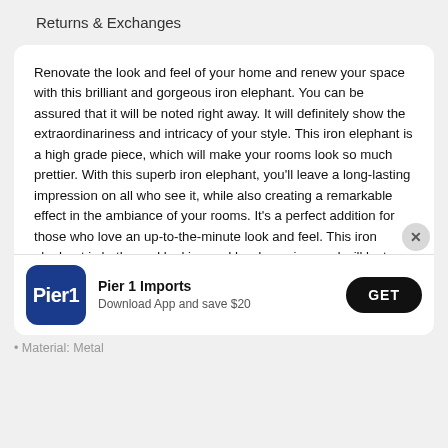Returns & Exchanges
Renovate the look and feel of your home and renew your space with this brilliant and gorgeous iron elephant. You can be assured that it will be noted right away. It will definitely show the extraordinariness and intricacy of your style. This iron elephant is a high grade piece, which will make your rooms look so much prettier. With this superb iron elephant, you'll leave a long-lasting impression on all who see it, while also creating a remarkable effect in the ambiance of your rooms. It's a perfect addition for those who love an up-to-the-minute look and feel. This iron elephant is both good looking and hard wearing, and will last you for a long time. This charming iron elephant is expertly made of high grade materials. As for
[Figure (screenshot): Pier 1 Imports app install banner with logo, 'Download App and save $20' text, and GET button]
• Material: Metal